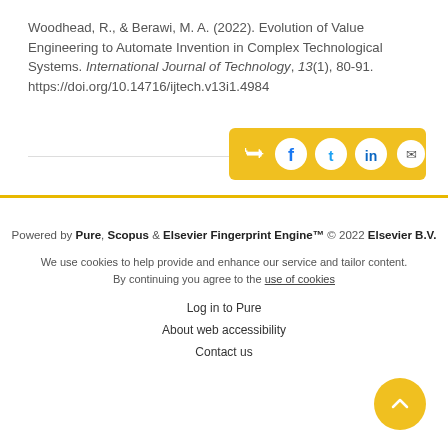Woodhead, R., & Berawi, M. A. (2022). Evolution of Value Engineering to Automate Invention in Complex Technological Systems. International Journal of Technology, 13(1), 80-91. https://doi.org/10.14716/ijtech.v13i1.4984
[Figure (other): Social share bar with yellow background containing share, Facebook, Twitter, LinkedIn, and email icons]
Powered by Pure, Scopus & Elsevier Fingerprint Engine™ © 2022 Elsevier B.V.
We use cookies to help provide and enhance our service and tailor content. By continuing you agree to the use of cookies
Log in to Pure
About web accessibility
Contact us